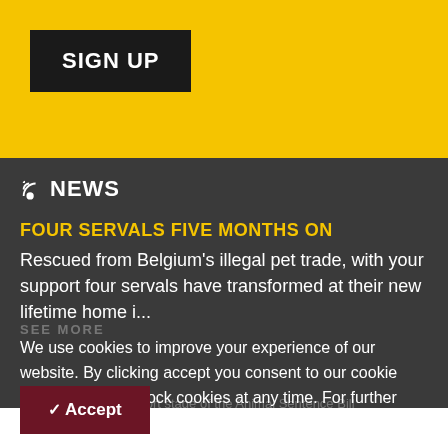[Figure (other): Yellow background bar at top of page]
SIGN UP
NEWS
FOUR SERVALS FIVE MONTHS ON
Rescued from Belgium's illegal pet trade, with your support four servals have transformed at their new lifetime home i...
We use cookies to improve your experience of our website. By clicking accept you consent to our cookie policy. You may block cookies at any time. For further details please see our policy.